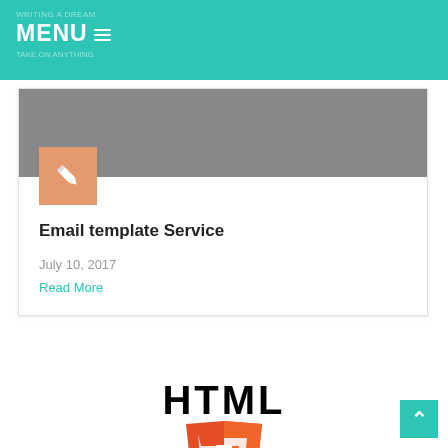MENU
[Figure (screenshot): Blog post card with gray image area, pencil icon on salmon background, title 'Email template Service', date 'July 10, 2017', and 'Read More' link]
Email template Service
July 10, 2017
Read More
[Figure (logo): HTML5 logo: large bold black 'HTML' text above an orange shield with white '5' numeral]